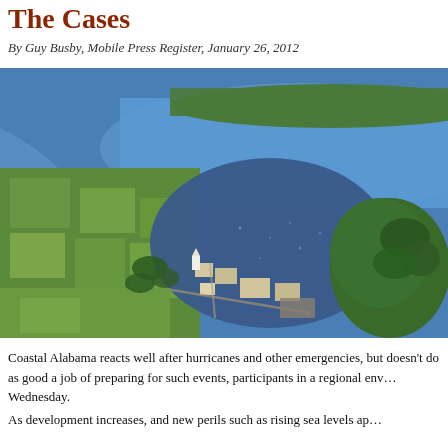The Cases
By Guy Busby, Mobile Press Register, January 26, 2012
[Figure (photo): Aerial photograph of coastal Alabama showing waterways, marshlands, green fields, and developed areas with buildings and roads. A large body of water is visible in the upper portion with marshes and residential/institutional development in the foreground.]
Coastal Alabama reacts well after hurricanes and other emergencies, but doesn't do as good a job of preparing for such events, participants in a regional env... Wednesday.
As development increases, and new perils such as rising sea levels ap...